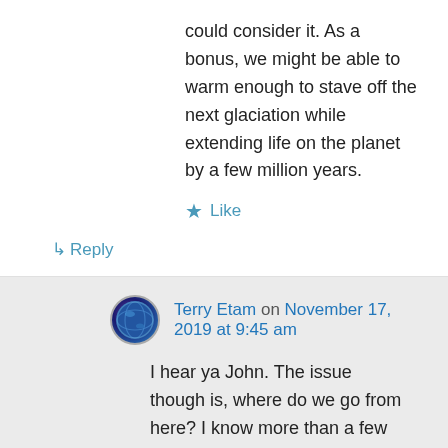could consider it. As a bonus, we might be able to warm enough to stave off the next glaciation while extending life on the planet by a few million years.
★ Like
↳ Reply
Terry Etam on November 17, 2019 at 9:45 am
I hear ya John. The issue though is, where do we go from here? I know more than a few people that think a major conflict is on the way, and I tend to agree. If the extremists (Warren, Sanders et al) ever get a chance to implement their more